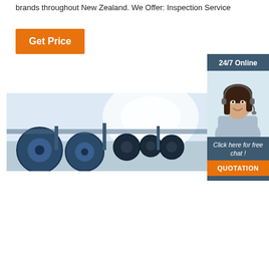brands throughout New Zealand. We Offer: Inspection Service
[Figure (other): Orange 'Get Price' button]
[Figure (photo): Industrial machinery with large blue cable reels/spools in a warehouse setting]
[Figure (infographic): Sidebar with '24/7 Online' label, photo of smiling female agent with headset, 'Click here for free chat!' text, and 'QUOTATION' orange button]